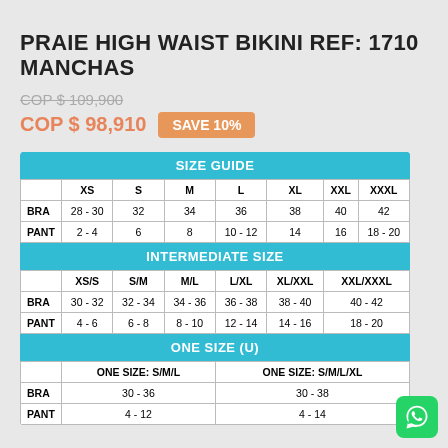PRAIE HIGH WAIST BIKINI REF: 1710 MANCHAS
COP $ 109,900 (strikethrough)
COP $ 98,910   SAVE 10%
| SIZE GUIDE |  |  |  |  |  |  |  |
| --- | --- | --- | --- | --- | --- | --- | --- |
|  | XS | S | M | L | XL | XXL | XXXL |
| BRA | 28 - 30 | 32 | 34 | 36 | 38 | 40 | 42 |
| PANT | 2 - 4 | 6 | 8 | 10 - 12 | 14 | 16 | 18 - 20 |
| INTERMEDIATE SIZE |  |  |  |  |  |  |  |
|  | XS/S | S/M | M/L | L/XL | XL/XXL | XXL/XXXL |  |
| BRA | 30 - 32 | 32 - 34 | 34 - 36 | 36 - 38 | 38 - 40 | 40 - 42 |  |
| PANT | 4 - 6 | 6 - 8 | 8 - 10 | 12 - 14 | 14 - 16 | 18 - 20 |  |
| ONE SIZE (U) |  |  |  |  |  |  |  |
|  | ONE SIZE: S/M/L |  |  | ONE SIZE: S/M/L/XL |  |  |  |
| BRA | 30 - 36 |  |  | 30 - 38 |  |  |  |
| PANT | 4 - 12 |  |  | 4 - 14 |  |  |  |